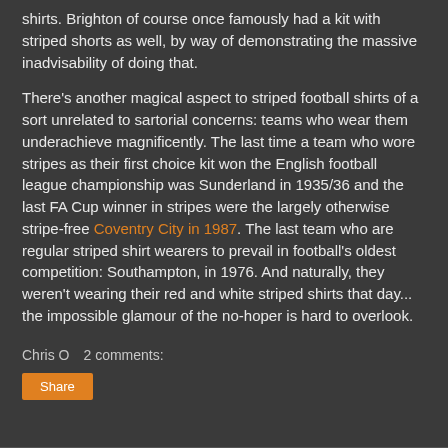shirts. Brighton of course once famously had a kit with striped shorts as well, by way of demonstrating the massive inadvisability of doing that.
There's another magical aspect to striped football shirts of a sort unrelated to sartorial concerns: teams who wear them underachieve magnificently. The last time a team who wore stripes as their first choice kit won the English football league championship was Sunderland in 1935/36 and the last FA Cup winner in stripes were the largely otherwise stripe-free Coventry City in 1987. The last team who are regular striped shirt wearers to prevail in football's oldest competition: Southampton, in 1976. And naturally, they weren't wearing their red and white striped shirts that day... the impossible glamour of the no-hoper is hard to overlook.
Chris O   2 comments:
Share